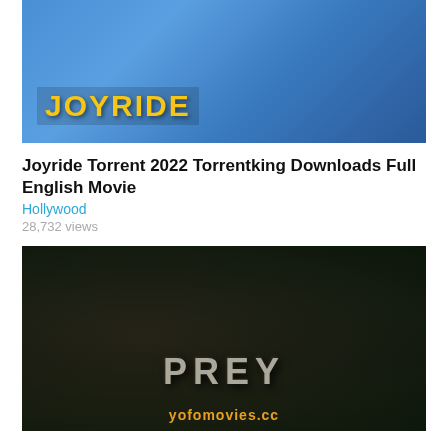[Figure (photo): Movie poster/thumbnail for Joyride (2022) showing two people sitting on a bench, one holding a baby, with the title JOYRIDE in yellow text on a blue background]
Joyride Torrent 2022 Torrentking Downloads Full English Movie
Hollywood
28,732 views
[Figure (photo): Movie poster/thumbnail for Prey showing a woman with wild hair in a forest setting with the title PREY in stone-textured letters and yofomovies.cc watermark at the bottom]